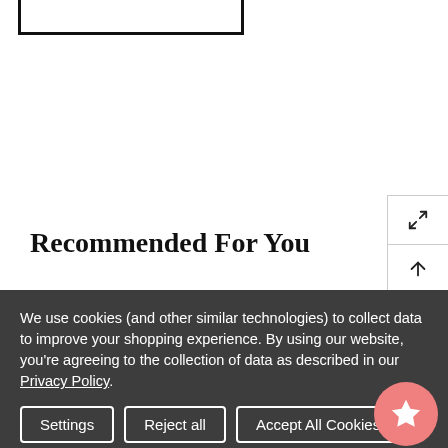[Figure (screenshot): Partial border box remnant from a UI element at the top of the page]
Recommended For You
We use cookies (and other similar technologies) to collect data to improve your shopping experience. By using our website, you're agreeing to the collection of data as described in our Privacy Policy.
Settings | Reject all | Accept All Cookies